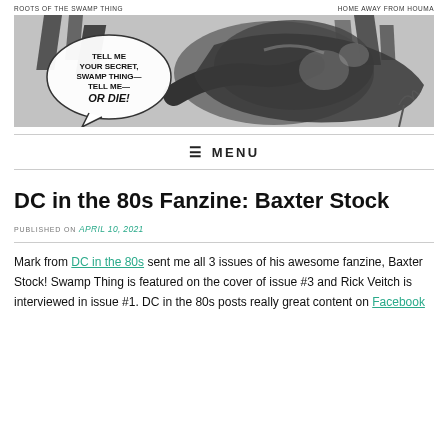ROOTS OF THE SWAMP THING    HOME AWAY FROM HOUMA
[Figure (illustration): Black and white comic book banner illustration showing Swamp Thing with a speech bubble reading 'TELL ME YOUR SECRET, SWAMP THING— TELL ME— OR DIE!']
☰ MENU
DC in the 80s Fanzine: Baxter Stock
PUBLISHED ON April 10, 2021
Mark from DC in the 80s sent me all 3 issues of his awesome fanzine, Baxter Stock! Swamp Thing is featured on the cover of issue #3 and Rick Veitch is interviewed in issue #1. DC in the 80s posts really great content on Facebook